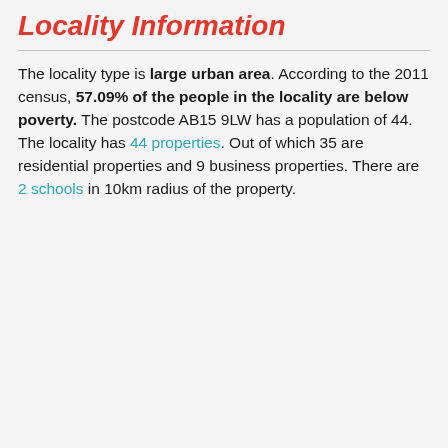Locality Information
The locality type is large urban area. According to the 2011 census, 57.09% of the people in the locality are below poverty. The postcode AB15 9LW has a population of 44. The locality has 44 properties. Out of which 35 are residential properties and 9 business properties. There are 2 schools in 10km radius of the property.